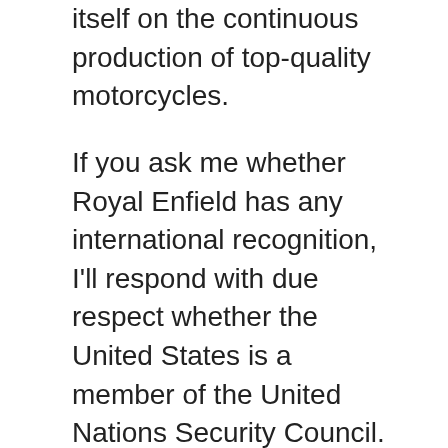itself on the continuous production of top-quality motorcycles.
If you ask me whether Royal Enfield has any international recognition, I'll respond with due respect whether the United States is a member of the United Nations Security Council. I'm sure your answer will be in the affirmative, just as you would expect mine to be.
The business and promotional expansion of Royal Enfield since its establishment have made it a brand to identify with not only in India but in the whole of Asia. What's more, Royal Enfield has an incredibly unparalleled